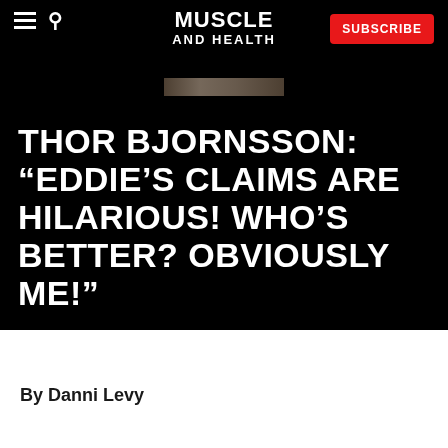MUSCLE AND HEALTH
THOR BJORNSSON: “EDDIE’S CLAIMS ARE HILARIOUS! WHO’S BETTER? OBVIOUSLY ME!”
By Danni Levy